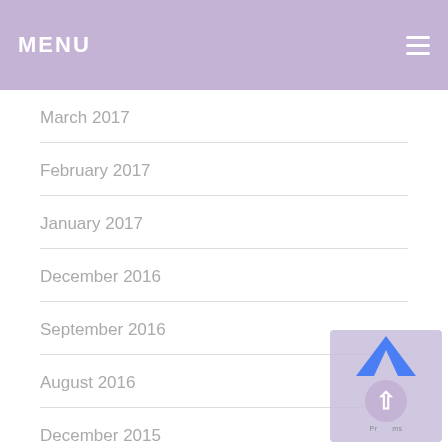MENU
March 2017
February 2017
January 2017
December 2016
September 2016
August 2016
December 2015
October 2015
May 2015